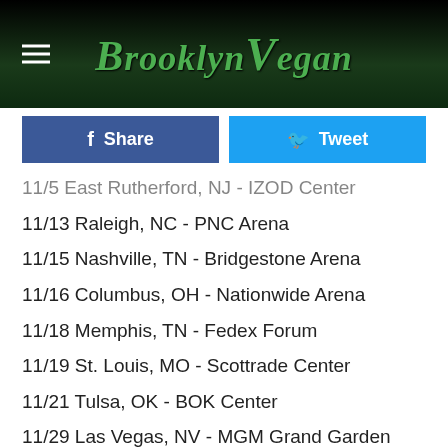BrooklynVegan
11/5 East Rutherford, NJ - IZOD Center
11/13 Raleigh, NC - PNC Arena
11/15 Nashville, TN - Bridgestone Arena
11/16 Columbus, OH - Nationwide Arena
11/18 Memphis, TN - Fedex Forum
11/19 St. Louis, MO - Scottrade Center
11/21 Tulsa, OK - BOK Center
11/29 Las Vegas, NV - MGM Grand Garden Arena
11/30 Las Vegas, NV - MGM Grand Garden Arena
12/2 Phoenix, AZ - US Airways Center
12/4 Dallas, TX - American Airlines Center